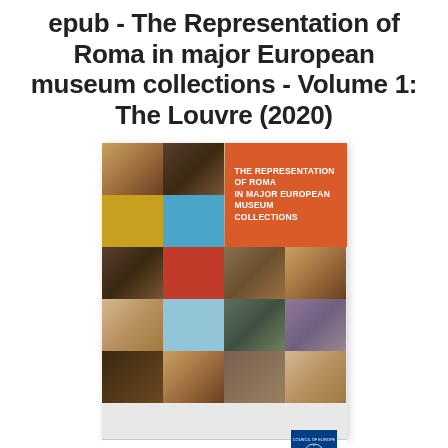epub - The Representation of Roma in major European museum collections - Volume 1: The Louvre (2020)
[Figure (illustration): Book cover of 'The Representation of Roma in Major European Museum Collections, Volume I – The Louvre' by Sarah Carmona. The cover features a collage of paintings arranged in a 4x4 grid with orange/red, gold, and blue color blocks interspersed. White bold text reads 'THE REPRESENTATION OF ROMA IN MAJOR EUROPEAN MUSEUM COLLECTIONS'. Below the image grid: 'Volume I – The Louvre / Sarah Carmona'. Council of Europe logo at bottom right.]